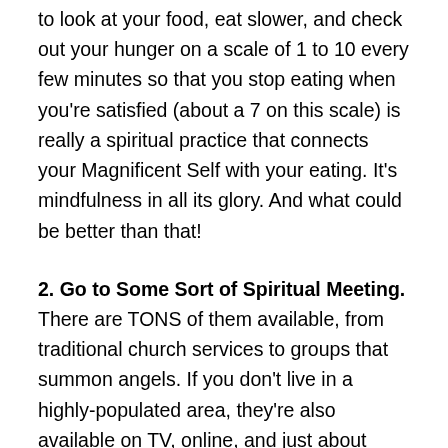to look at your food, eat slower, and check out your hunger on a scale of 1 to 10 every few minutes so that you stop eating when you're satisfied (about a 7 on this scale) is really a spiritual practice that connects your Magnificent Self with your eating. It's mindfulness in all its glory. And what could be better than that!
2. Go to Some Sort of Spiritual Meeting. There are TONS of them available, from traditional church services to groups that summon angels. If you don't live in a highly-populated area, they're also available on TV, online, and just about anywhere. I've never come away from one … and